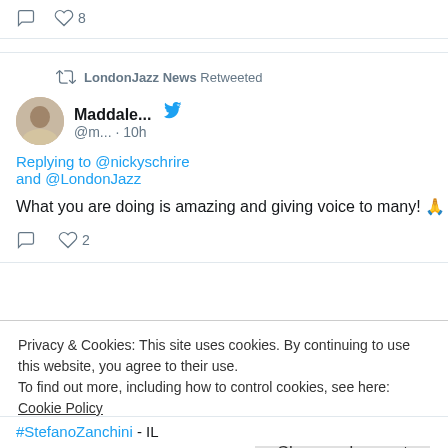[Figure (screenshot): Tweet actions row with comment icon and heart icon with count 8]
LondonJazz News Retweeted
Maddale... @m... · 10h
Replying to @nickyschrire and @LondonJazz
What you are doing is amazing and giving voice to many! 🙏
♡ 2
Privacy & Cookies: This site uses cookies. By continuing to use this website, you agree to their use.
To find out more, including how to control cookies, see here: Cookie Policy
Close and accept
#StefanoZanchini - IL